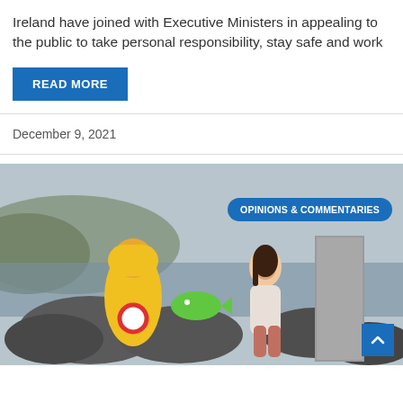Ireland have joined with Executive Ministers in appealing to the public to take personal responsibility, stay safe and work
READ MORE
December 9, 2021
[Figure (photo): A woman sitting on rocks by the sea holding a green fish-shaped prop, next to a yellow raincoat fisherman mascot. An 'OPINIONS & COMMENTARIES' badge overlays the top right. A scroll-to-top arrow button is in the bottom right corner.]